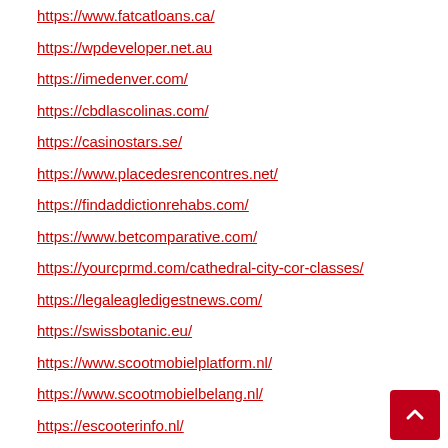https://www.fatcatloans.ca/
https://wpdeveloper.net.au
https://imedenver.com/
https://cbdlascolinas.com/
https://casinostars.se/
https://www.placedesrencontres.net/
https://findaddictionrehabs.com/
https://www.betcomparative.com/
https://yourcprmd.com/cathedral-city-cor-classes/
https://legaleagledigestnews.com/
https://swissbotanic.eu/
https://www.scootmobielplatform.nl/
https://www.scootmobielbelang.nl/
https://escooterinfo.nl/
https://brommobielaanbod.nl/